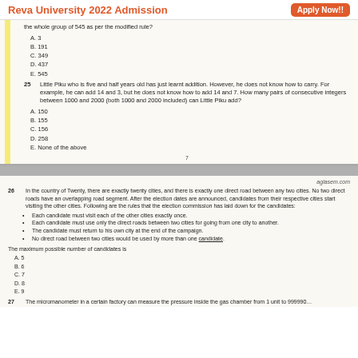Reva University 2022 Admission  Apply Now!!
the whole group of 545 as per the modified rule?
A. 3
B. 191
C. 349
D. 437
E. 545
25  Little Piku who is five and half years old has just learnt addition. However, he does not know how to carry. For example, he can add 14 and 3, but he does not know how to add 14 and 7. How many pairs of consecutive integers between 1000 and 2000 (both 1000 and 2000 included) can Little Piku add?
A. 150
B. 155
C. 156
D. 258
E. None of the above
aglasem.com
26  In the country of Twenty, there are exactly twenty cities, and there is exactly one direct road between any two cities. No two direct roads have an overlapping road segment. After the election dates are announced, candidates from their respective cities start visiting the other cities. Following are the rules that the election commission has laid down for the candidates:
Each candidate must visit each of the other cities exactly once.
Each candidate must use only the direct roads between two cities for going from one city to another.
The candidate must return to his own city at the end of the campaign.
No direct road between two cities would be used by more than one candidate.
The maximum possible number of candidates is
A. 5
B. 6
C. 7
D. 8
E. 9
27  The micromanometer in a certain factory can measure the pressure inside the gas chamber from 1 unit to 999990...